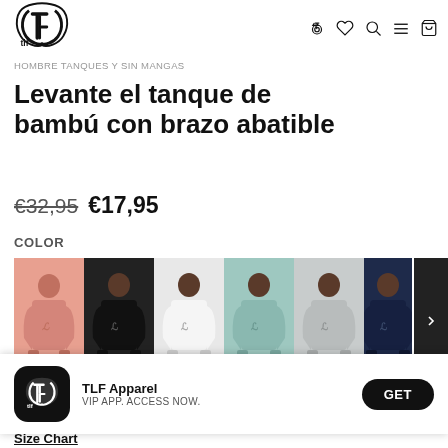[Figure (logo): TLF brand logo - a stylized shield/arrow shape with 'tlf' text]
HOMBRE TANQUES Y SIN MANGAS
Levante el tanque de bambú con brazo abatible
€32,95  €17,95
COLOR
[Figure (photo): Six color variants of the tank top shown on male models: pink/salmon, black, white, teal/light blue, gray, navy blue. A right arrow navigation button is visible on the far right.]
TLF Apparel
VIP APP. ACCESS NOW.
GET
Size Chart